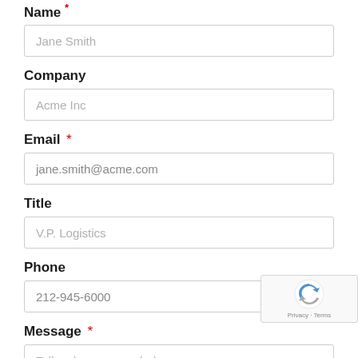Name *
Jane Smith (placeholder)
Company
Acme Inc (placeholder)
Email *
jane.smith@acme.com (placeholder)
Title
V.P. Logistics (placeholder)
Phone
212-945-6000 (placeholder)
Message *
Tell us how we can help (placeholder)